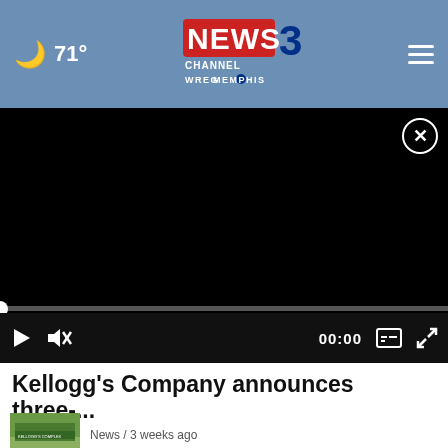NEWS 3 CHANNEL WREG MEMPHIS — 71°
[Figure (screenshot): Black video player with close button, progress bar at start (00:00), play button, mute button, caption button, fullscreen button]
Kellogg's Company announces three-...
[Figure (screenshot): Thumbnail image of a news story about a property/apartment complex]
News / 3 weeks ago